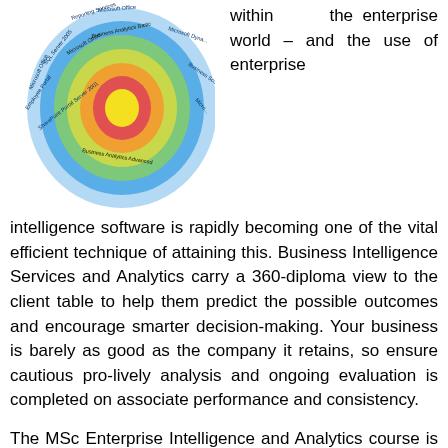[Figure (infographic): Concentric rings diagram showing Microsoft enterprise software products arranged in layered circles, including SharePoint Portal Server 2001, Employee Portal, Microsoft Office, SQL Server 2005, Reporting Services, Microsoft Office, Business Analytics Basic, Business Analytics Advanced, Microsoft Dynamics, Business Score, and others in a color-coded radial layout.]
within the enterprise world – and the use of enterprise intelligence software is rapidly becoming one of the vital efficient technique of attaining this. Business Intelligence Services and Analytics carry a 360-diploma view to the client table to help them predict the possible outcomes and encourage smarter decision-making. Your business is barely as good as the company it retains, so ensure cautious pro-lively analysis and ongoing evaluation is completed on associate performance and consistency.
The MSc Enterprise Intelligence and Analytics course is delivered in an interactive manner with an actual-world focus, with a purpose to put